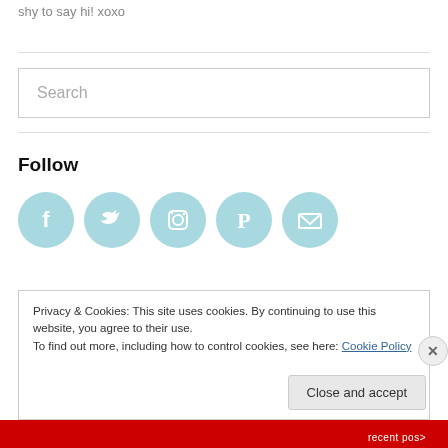shy to say hi! xoxo
Search
Follow
[Figure (infographic): Five circular social media icons in light blue: Facebook, Twitter, Instagram, Pinterest, Email]
Privacy & Cookies: This site uses cookies. By continuing to use this website, you agree to their use.
To find out more, including how to control cookies, see here: Cookie Policy
Close and accept